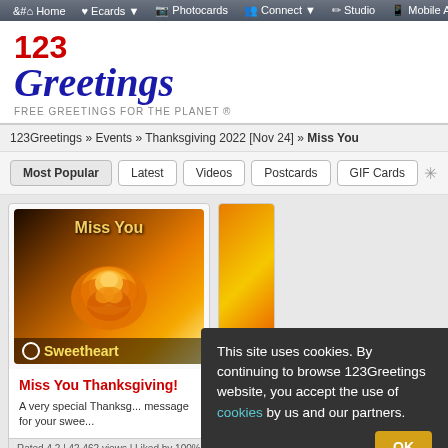Home | Ecards | Photocards | Connect | Studio | Mobile App
[Figure (logo): 123Greetings logo with tagline FREE GREETINGS FOR THE PLANET ®]
Birthday | Thank You | Anniversary | Everyday | Love | Inspirational | Congrats | F...
Happy Thanksgiving | Thank You | Family | Turkey Fun | Friends | Love
123Greetings » Events » Thanksgiving 2022 [Nov 24] » Miss You
Most Popular | Latest | Videos | Postcards | GIF Cards
[Figure (photo): Miss You Thanksgiving ecard thumbnail showing golden rose with text 'Miss You' and 'Sweetheart']
Miss You Thanksgiving!
A very special Thanksgiving message for your sweet...
This site uses cookies. By continuing to browse 123Greetings website, you accept the use of cookies by us and our partners.
OK
Rated 4.2 | 42,462 views | Liked by 100% Users